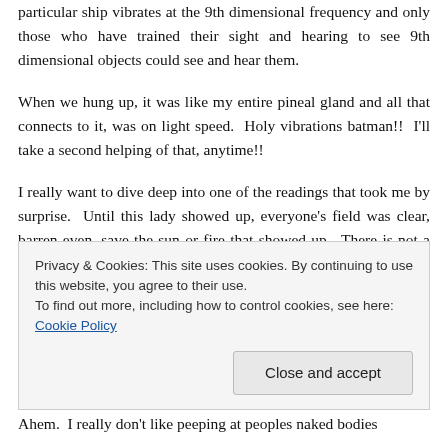particular ship vibrates at the 9th dimensional frequency and only those who have trained their sight and hearing to see 9th dimensional objects could see and hear them.
When we hung up, it was like my entire pineal gland and all that connects to it, was on light speed.  Holy vibrations batman!!  I'll take a second helping of that, anytime!!
I really want to dive deep into one of the readings that took me by surprise.  Until this lady showed up, everyone's field was clear, barren even, save the sun or fire that showed up.  There is not a person or plant visible besides who I
Privacy & Cookies: This site uses cookies. By continuing to use this website, you agree to their use.
To find out more, including how to control cookies, see here: Cookie Policy
[Close and accept button]
Ahem.  I really don't like peeping at peoples naked bodies